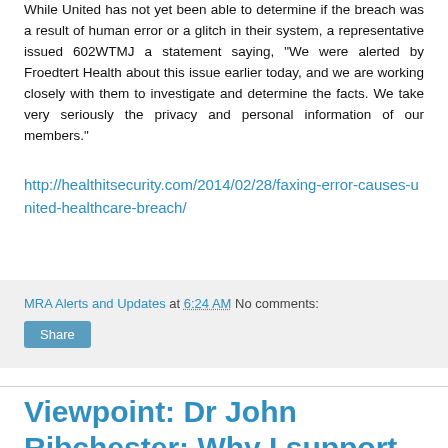While United has not yet been able to determine if the breach was a result of human error or a glitch in their system, a representative issued 602WTMJ a statement saying, "We were alerted by Froedtert Health about this issue earlier today, and we are working closely with them to investigate and determine the facts. We take very seriously the privacy and personal information of our members."
http://healthitsecurity.com/2014/02/28/faxing-error-causes-united-healthcare-breach/
MRA Alerts and Updates at 6:24 AM    No comments:
Share
Viewpoint: Dr John Ribchester: Why I support the King's Fund's primary care plans